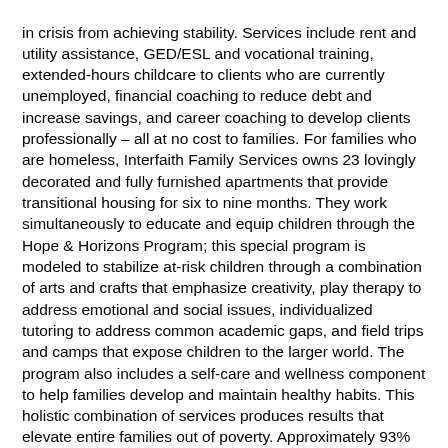in crisis from achieving stability. Services include rent and utility assistance, GED/ESL and vocational training, extended-hours childcare to clients who are currently unemployed, financial coaching to reduce debt and increase savings, and career coaching to develop clients professionally – all at no cost to families. For families who are homeless, Interfaith Family Services owns 23 lovingly decorated and fully furnished apartments that provide transitional housing for six to nine months. They work simultaneously to educate and equip children through the Hope & Horizons Program; this special program is modeled to stabilize at-risk children through a combination of arts and crafts that emphasize creativity, play therapy to address emotional and social issues, individualized tutoring to address common academic gaps, and field trips and camps that expose children to the larger world. The program also includes a self-care and wellness component to help families develop and maintain healthy habits. This holistic combination of services produces results that elevate entire families out of poverty. Approximately 93% of its families' transition to permanent housing, 78% create a savings safety net with $1,569 on average in savings, and 89% of graduates maintain employment one year later. For more information, visit www.interfaithdallas.org.